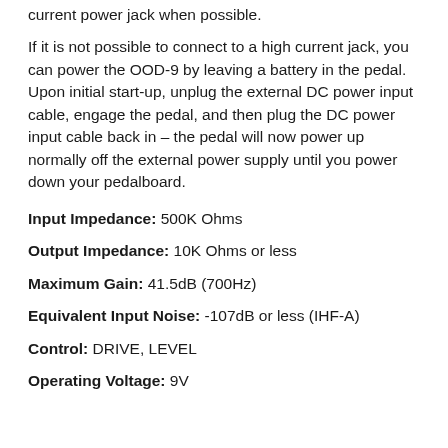current power jack when possible.
If it is not possible to connect to a high current jack, you can power the OOD-9 by leaving a battery in the pedal.  Upon initial start-up, unplug the external DC power input cable, engage the pedal, and then plug the DC power input cable back in – the pedal will now power up normally off the external power supply until you power down your pedalboard.
Input Impedance: 500K Ohms
Output Impedance: 10K Ohms or less
Maximum Gain: 41.5dB (700Hz)
Equivalent Input Noise: -107dB or less (IHF-A)
Control: DRIVE, LEVEL
Operating Voltage: 9V